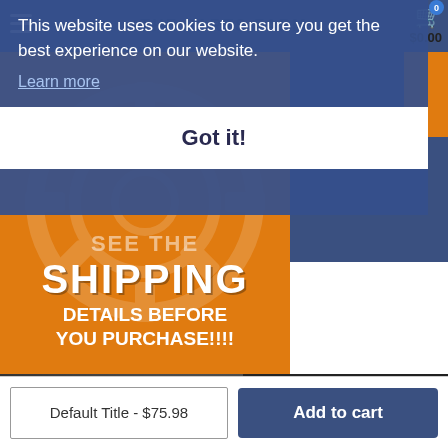THE PARTS FARM  $0.00
This website uses cookies to ensure you get the best experience on our website.
Learn more
Got it!
[Figure (infographic): Orange banner with text: SEE THE SHIPPING DETAILS BEFORE YOU PURCHASE!!!!]
[Figure (photo): Close-up photo of mechanical gears and engine parts. Overlay text: USED PARTS ARE OEM SO THEY FIT YOUR CAR & COST LESS]
Default Title - $75.98
Add to cart